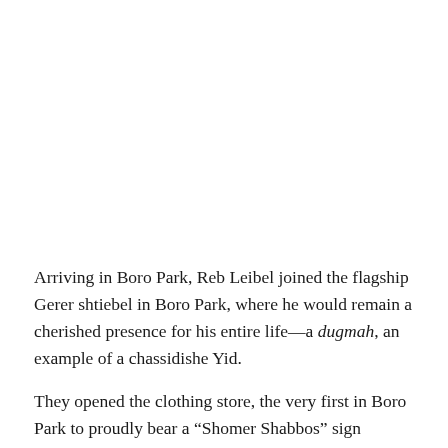Arriving in Boro Park, Reb Leibel joined the flagship Gerer shtiebel in Boro Park, where he would remain a cherished presence for his entire life—a dugmah, an example of a chassidishe Yid.
They opened the clothing store, the very first in Boro Park to proudly bear a "Shomer Shabbos" sign